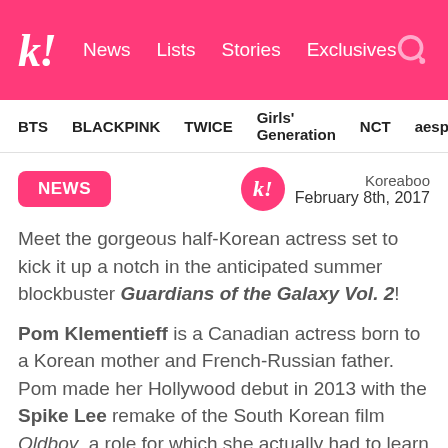Koreaboo — News | Lists | Stories | Exclusives
BTS  BLACKPINK  TWICE  Girls' Generation  NCT  aespa
NEWS
Koreaboo February 8th, 2017
Meet the gorgeous half-Korean actress set to kick it up a notch in the anticipated summer blockbuster Guardians of the Galaxy Vol. 2!
Pom Klementieff is a Canadian actress born to a Korean mother and French-Russian father. Pom made her Hollywood debut in 2013 with the Spike Lee remake of the South Korean film Oldboy, a role for which she actually had to learn Taekwondo.